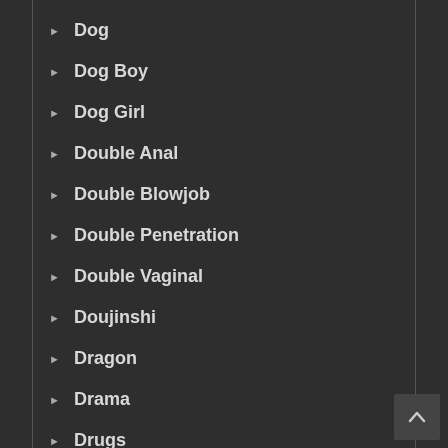Dog
Dog Boy
Dog Girl
Double Anal
Double Blowjob
Double Penetration
Double Vaginal
Doujinshi
Dragon
Drama
Drugs
Drunk
Ecchi